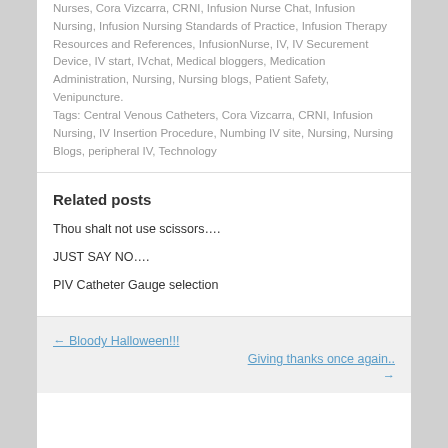Nurses, Cora Vizcarra, CRNI, Infusion Nurse Chat, Infusion Nursing, Infusion Nursing Standards of Practice, Infusion Therapy Resources and References, InfusionNurse, IV, IV Securement Device, IV start, IVchat, Medical bloggers, Medication Administration, Nursing, Nursing blogs, Patient Safety, Venipuncture. Tags: Central Venous Catheters, Cora Vizcarra, CRNI, Infusion Nursing, IV Insertion Procedure, Numbing IV site, Nursing, Nursing Blogs, peripheral IV, Technology
Related posts
Thou shalt not use scissors....
JUST SAY NO....
PIV Catheter Gauge selection
← Bloody Halloween!!!
Giving thanks once again.. →